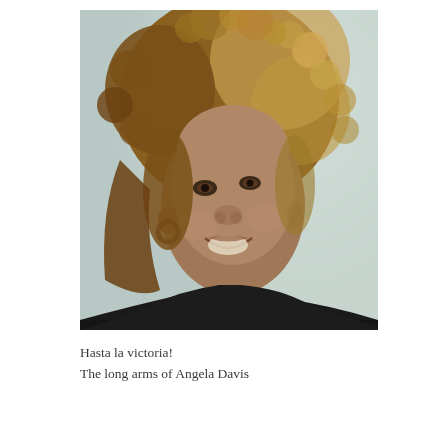[Figure (photo): A photograph of Angela Davis, a woman with curly voluminous light-brown hair, smiling, wearing dark clothing and hoop earrings, photographed from slightly above against a blurred light background.]
Hasta la victoria!
The long arms of Angela Davis